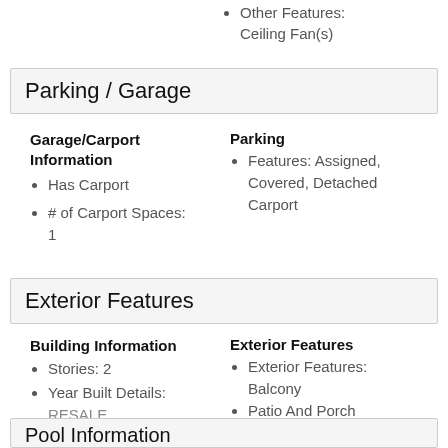Other Features: Ceiling Fan(s)
Parking / Garage
Garage/Carport Information
Has Carport
# of Carport Spaces: 1
Parking
Features: Assigned, Covered, Detached Carport
Exterior Features
Building Information
Stories: 2
Year Built Details: RESALE
Roof Details: Tile
Exterior Features
Exterior Features: Balcony
Patio And Porch Features: Balcony
Pool Information (partial)